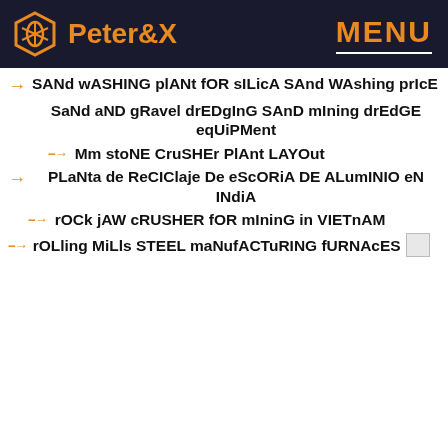Peter&X | MENU
SANd wASHING plANt fOR sILicA SAnd WAshing prIcE
SaNd aND gRavel drEDgInG SAnD mIning drEdGE equiPMent
Mm stoNE CruSHEr PlAnt LAYOut
PLaNta de ReCIClaje De eScORiA DE ALumINIO eN INdiA
rOCk jAW cRUSHER fOR mIninG in VIETnAM
rOLling MiLls STEEL maNufACTuRING fURNAcES